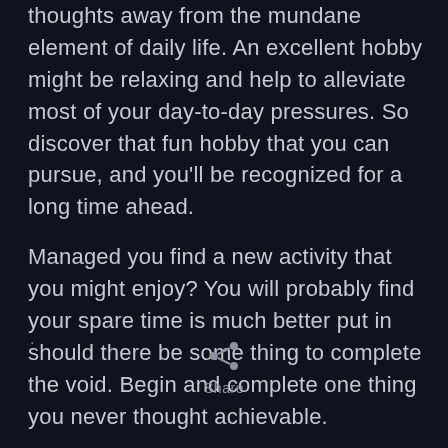thoughts away from the mundane element of daily life. An excellent hobby might be relaxing and help to alleviate most of your day-to-day pressures. So discover that fun hobby that you can pursue, and you'll be recognized for a long time ahead.
Managed you find a new activity that you might enjoy? You will probably find your spare time is much better put in should there be some thing to complete the void. Begin and complete one thing you never thought achievable.
[Figure (other): Share icon (network/share symbol) with 'Share' label below]